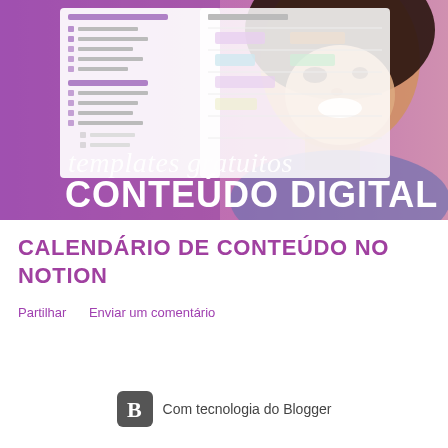[Figure (photo): Promotional banner image showing a smiling young woman with dark hair against a purple background, with a Notion calendar template overlay on the left side. Text overlay reads 'templates gratuitos CONTEÚDO DIGITAL' in bold white and cursive lettering.]
CALENDÁRIO DE CONTEÚDO NO NOTION
Partilhar    Enviar um comentário
Com tecnologia do Blogger